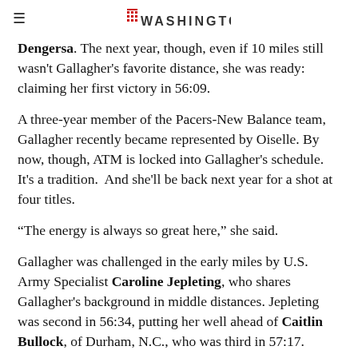≡ [Washington Running Report logo] WASHINGTON
Dengersa. The next year, though, even if 10 miles still wasn't Gallagher's favorite distance, she was ready: claiming her first victory in 56:09.
A three-year member of the Pacers-New Balance team, Gallagher recently became represented by Oiselle. By now, though, ATM is locked into Gallagher's schedule. It's a tradition. And she'll be back next year for a shot at four titles.
“The energy is always so great here,” she said.
Gallagher was challenged in the early miles by U.S. Army Specialist Caroline Jepleting, who shares Gallagher's background in middle distances. Jepleting was second in 56:34, putting her well ahead of Caitlin Bullock, of Durham, N.C., who was third in 57:17.